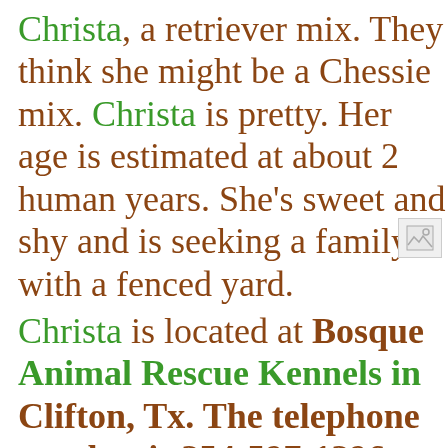Christa, a retriever mix. They think she might be a Chessie mix. Christa is pretty. Her age is estimated at about 2 human years. She's sweet and shy and is seeking a family with a fenced yard.
Christa is located at Bosque Animal Rescue Kennels in Clifton, Tx. The telephone number is 254-597-1296 or